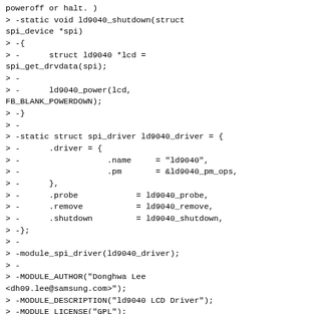poweroff or halt. )
> -static void ld9040_shutdown(struct spi_device *spi)
> -{
> -      struct ld9040 *lcd =
spi_get_drvdata(spi);
> -
> -      ld9040_power(lcd,
FB_BLANK_POWERDOWN);
> -}
> -
> -static struct spi_driver ld9040_driver = {
> -      .driver = {
> -                  .name     = "ld9040",
> -                  .pm       = &ld9040_pm_ops,
> -      },
> -      .probe            = ld9040_probe,
> -      .remove           = ld9040_remove,
> -      .shutdown         = ld9040_shutdown,
> -};
> -
> -module_spi_driver(ld9040_driver);
> -
> -MODULE_AUTHOR("Donghwa Lee
<dh09.lee@samsung.com>");
> -MODULE_DESCRIPTION("ld9040 LCD Driver");
> -MODULE_LICENSE("GPL");
> diff --git
a/drivers/video/backlight/ld9040_gamma.h
b/drivers/video/backlight/ld9040_gamma.h
> deleted file mode 100644